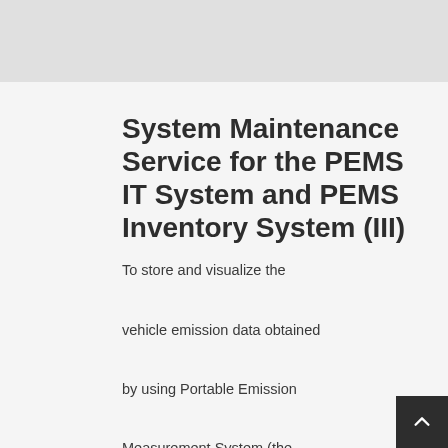System Maintenance Service for the PEMS IT System and PEMS Inventory System (III)
To store and visualize the vehicle emission data obtained by using Portable Emission Measurement System (the PEMS Data), Environmental